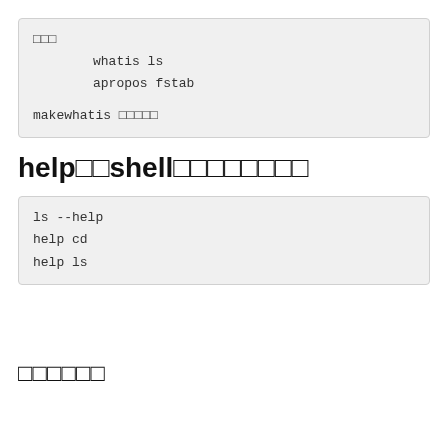□□□
        whatis ls
        apropos fstab

makewhatis □□□□□
help□□shell□□□□□□□□
ls --help
help cd
help ls
□□□□□□
gzip□□□□□□